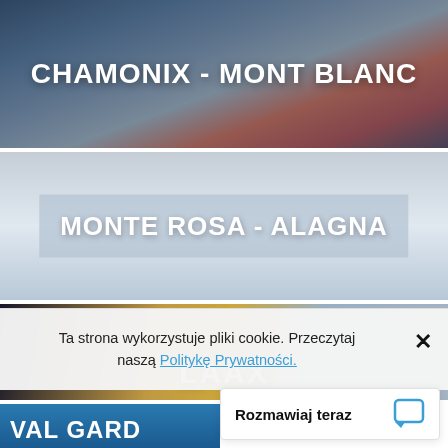[Figure (photo): Panoramic mountain photo of Chamonix - Mont Blanc ski resort with dramatic sky]
CHAMONIX - MONT BLANC
[Figure (photo): Snowy mountain panorama of Monte Rosa - Alagna ski resort]
MONTE ROSA - ALAGNA
[Figure (photo): Sunset mountain panorama of Laax ski resort]
LAAX
Ta strona wykorzystuje pliki cookie. Przeczytaj naszą Politykę Prywatności.
Rozmawiaj teraz
[Figure (photo): Partial view of Val Gardena ski resort banner]
VAL GARD